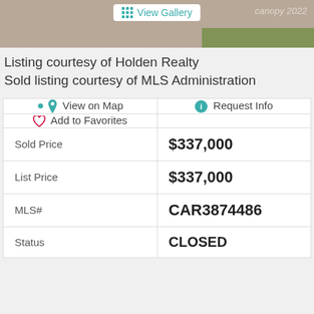[Figure (photo): Top portion of a real estate listing photo showing a property exterior with a 'View Gallery' button and 'canopy 2022' watermark]
Listing courtesy of Holden Realty
Sold listing courtesy of MLS Administration
| 📍 View on Map | ℹ Request Info |
| ♡ Add to Favorites |  |
| Sold Price | $337,000 |
| List Price | $337,000 |
| MLS# | CAR3874486 |
| Status | CLOSED |